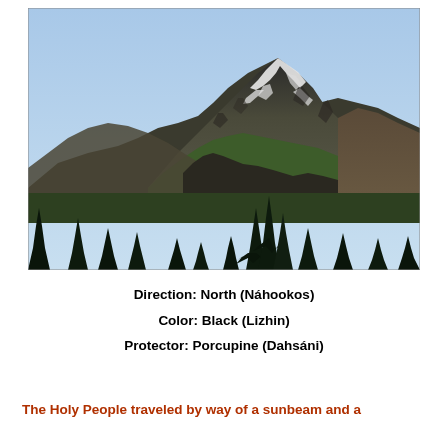[Figure (photo): Photograph of a snow-capped mountain peak with rocky slopes, green forested lower hillsides, and dark evergreen trees in the foreground against a clear light-blue sky.]
Direction: North (Náhookos)
Color: Black (Lizhin)
Protector: Porcupine (Dahsáni)
The Holy People traveled by way of a sunbeam and a